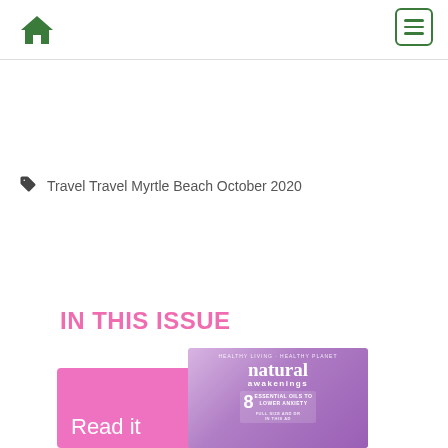Home | Menu
Travel Travel Myrtle Beach October 2020
IN THIS ISSUE
[Figure (photo): Natural Awakenings magazine cover with pink background, showing '8 Essential Oils to Lower Anxiety' headline, with 'Read it' text overlay on pink banner]